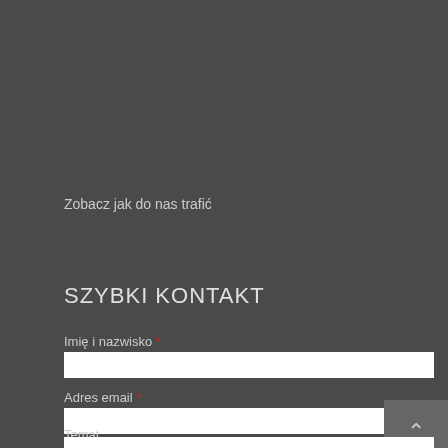Zobacz jak do nas trafić
SZYBKI KONTAKT
Imię i nazwisko *
Adres email *
Temat